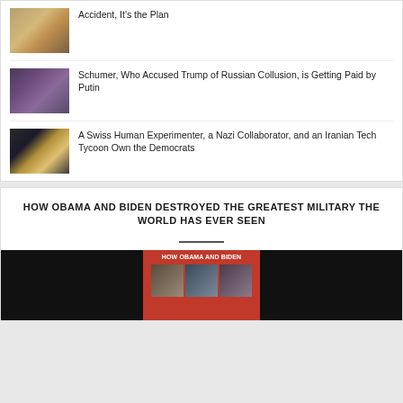Accident, It's the Plan
Schumer, Who Accused Trump of Russian Collusion, is Getting Paid by Putin
A Swiss Human Experimenter, a Nazi Collaborator, and an Iranian Tech Tycoon Own the Democrats
HOW OBAMA AND BIDEN DESTROYED THE GREATEST MILITARY THE WORLD HAS EVER SEEN
[Figure (photo): Book cover for 'How Obama and Biden' with red cover and photos of political figures, on black background]